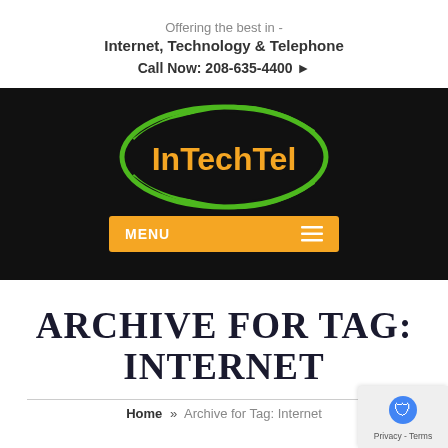Offering the best in -
Internet, Technology & Telephone
Call Now: 208-635-4400 ▶
[Figure (logo): InTechTel logo: orange text on black oval background with green ellipse ring]
MENU
ARCHIVE FOR TAG: INTERNET
Home » Archive for Tag: Internet